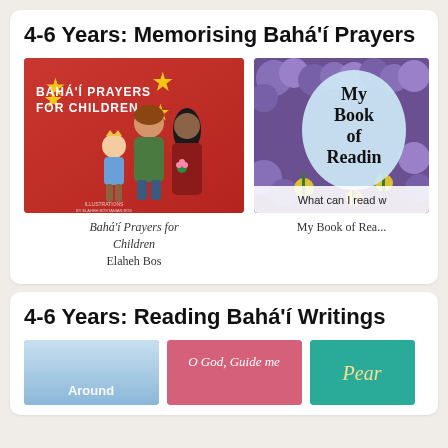4-6 Years: Memorising Bahá'í Prayers
[Figure (illustration): Book cover for 'Bahá'í Prayers for Children' showing illustrated children figures on a red background with yellow stars and text 'BAHÁ'Í PRAYERS FOR CHILDREN']
Bahá'í Prayers for Children
Elaheh Bos
[Figure (illustration): Partial book cover 'My Book of Reading' with flower background and text 'What can I read w...']
My Book of Rea...
4-6 Years: Reading Bahá'í Writings
[Figure (illustration): Partial book cover with blue/sky background showing word 'Around']
[Figure (illustration): Book cover with pink/mauve background showing text 'O God, Guide me']
[Figure (illustration): Partial teal/green book cover showing partial text 'Pear...']